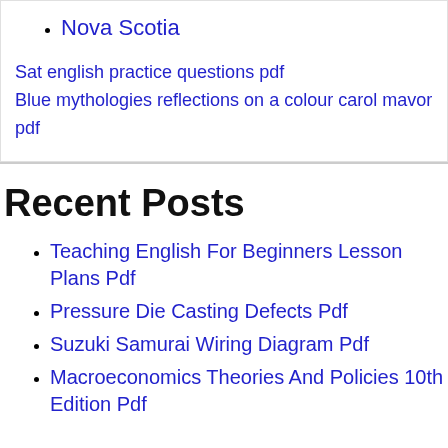Nova Scotia
Sat english practice questions pdf
Blue mythologies reflections on a colour carol mavor pdf
Recent Posts
Teaching English For Beginners Lesson Plans Pdf
Pressure Die Casting Defects Pdf
Suzuki Samurai Wiring Diagram Pdf
Macroeconomics Theories And Policies 10th Edition Pdf